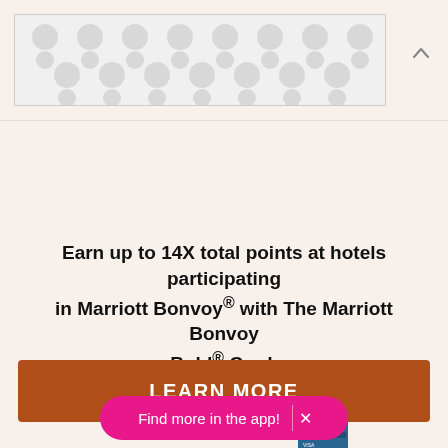[Figure (illustration): Banner advertisement with repeating balloon/dot pattern in light gray on white background, with a chevron/up arrow icon to the right]
Earn up to 14X total points at hotels participating in Marriott Bonvoy® with The Marriott Bonvoy Bold® Card.
LEARN MORE
Find more in the app! ×
Presented By